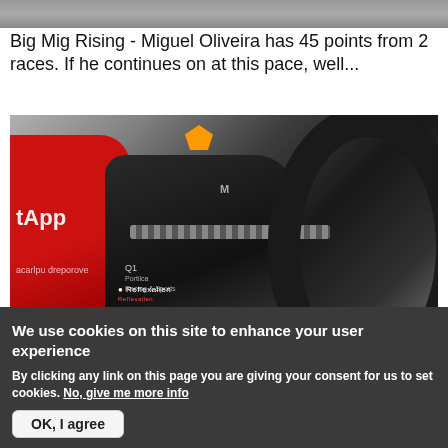[Figure (photo): Partial top of a previous article image, cropped at top of visible area]
Big Mig Rising - Miguel Oliveira has 45 points from 2 races. If he continues on at this pace, well...
[Figure (photo): Close-up photo of a MotoGP motorcycle rear section showing carbon fiber bodywork with Reflexallen and Q1 sponsor logos, red fairing with tApp branding, chain drive, large rear tire, and Shell logo. Italian flag detail visible.]
We use cookies on this site to enhance your user experience
By clicking any link on this page you are giving your consent for us to set cookies. No, give me more info
OK, I agree